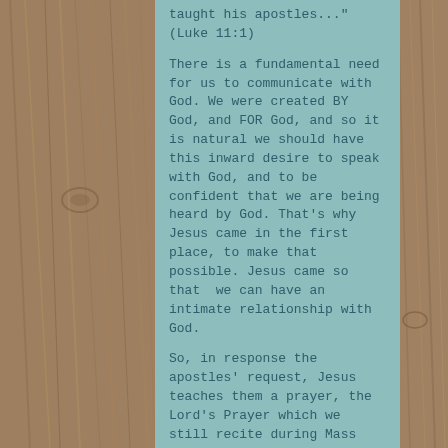taught his apostles..." (Luke 11:1)
There is a fundamental need for us to communicate with God. We were created BY God, and FOR God, and so it is natural we should have this inward desire to speak with God, and to be confident that we are being heard by God. That's why Jesus came in the first place, to make that possible. Jesus came so that we can have an intimate relationship with God.
So, in response the apostles' request, Jesus teaches them a prayer, the Lord's Prayer which we still recite during Mass and in all of our private devotions. In the Lord's Prayer, Jesus also gives them a formula for how to pray. You may have heard that formula, but you can also figure it out. Did you know that there are many additional formulas and